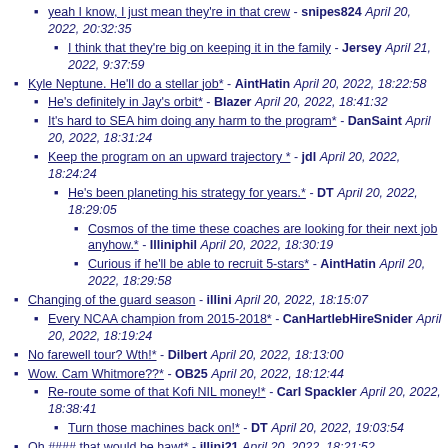yeah I know, I just mean they're in that crew - snipes824 April 20, 2022, 20:32:35
I think that they're big on keeping it in the family - Jersey April 21, 2022, 9:37:59
Kyle Neptune. He'll do a stellar job* - AintHatin April 20, 2022, 18:22:58
He's definitely in Jay's orbit* - Blazer April 20, 2022, 18:41:32
It's hard to SEA him doing any harm to the program* - DanSaint April 20, 2022, 18:31:24
Keep the program on an upward trajectory * - jdl April 20, 2022, 18:24:24
He's been planeting his strategy for years.* - DT April 20, 2022, 18:29:05
Cosmos of the time these coaches are looking for their next job anyhow.* - Illiniphil April 20, 2022, 18:30:19
Curious if he'll be able to recruit 5-stars* - AintHatin April 20, 2022, 18:29:58
Changing of the guard season - illini April 20, 2022, 18:15:07
Every NCAA champion from 2015-2018* - CanHartlebHireSnider April 20, 2022, 18:19:24
No farewell tour? Wth!* - Dilbert April 20, 2022, 18:13:00
Wow. Cam Whitmore??* - OB25 April 20, 2022, 18:12:44
Re-route some of that Kofi NIL money!* - Carl Spackler April 20, 2022, 18:38:41
Turn those machines back on!* - DT April 20, 2022, 19:03:54
Oh #### that would be hawt* - illini21 April 20, 2022, 18:21:52